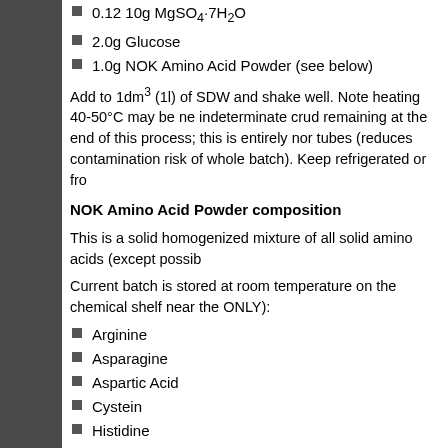0.12 10g MgSO4·7H2O
2.0g Glucose
1.0g NOK Amino Acid Powder (see below)
Add to 1dm3 (1l) of SDW and shake well. Note heating 40-50°C may be needed. indeterminate crud remaining at the end of this process; this is entirely normal. Aliquot into tubes (reduces contamination risk of whole batch). Keep refrigerated or frozen.
NOK Amino Acid Powder composition
This is a solid homogenized mixture of all solid amino acids (except possibly others).
Current batch is stored at room temperature on the chemical shelf near the (solid amino acids ONLY):
Arginine
Asparagine
Aspartic Acid
Cystein
Histidine
Isoleucine
Leucine
Lysine
Methionine
Phenylalanine
Proline
Tryptophan